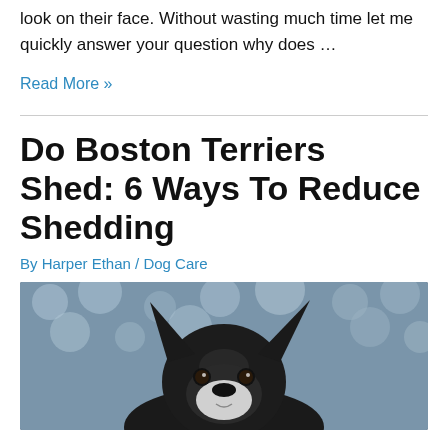look on their face. Without wasting much time let me quickly answer your question why does …
Read More »
Do Boston Terriers Shed: 6 Ways To Reduce Shedding
By Harper Ethan / Dog Care
[Figure (photo): A black and white Boston Terrier dog with large upright ears, looking forward against a blurred blue/white background.]